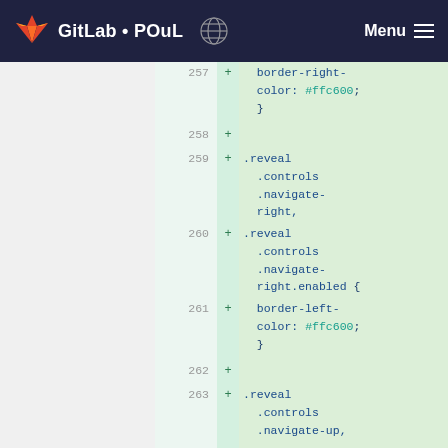GitLab • POuL  Menu
257 + border-right-color: #ffc600; }
258 +
259 + .reveal .controls .navigate-right,
260 + .reveal .controls .navigate-right.enabled {
261 + border-left-color: #ffc600; }
262 +
263 + .reveal .controls .navigate-up,
264 + .reveal